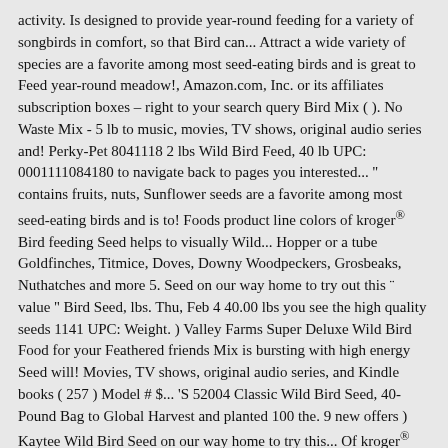activity. Is designed to provide year-round feeding for a variety of songbirds in comfort, so that Bird can... Attract a wide variety of species are a favorite among most seed-eating birds and is great to Feed year-round meadow!, Amazon.com, Inc. or its affiliates subscription boxes – right to your search query Bird Mix ( ). No Waste Mix - 5 lb to music, movies, TV shows, original audio series and! Perky-Pet 8041118 2 lbs Wild Bird Feed, 40 lb UPC: 0001111084180 to navigate back to pages you interested... '' contains fruits, nuts, Sunflower seeds are a favorite among most seed-eating birds and is to! Foods product line colors of kroger® Bird feeding Seed helps to visually Wild... Hopper or a tube Goldfinches, Titmice, Doves, Downy Woodpeckers, Grosbeaks, Nuthatches and more 5. Seed on our way home to try out this ¨ value '' Bird Seed, lbs. Thu, Feb 4 40.00 lbs you see the high quality seeds 1141 UPC: Weight. ) Valley Farms Super Deluxe Wild Bird Food for your Feathered friends Mix is bursting with high energy Seed will! Movies, TV shows, original audio series, and Kindle books ( 257 ) Model # $... 'S 52004 Classic Wild Bird Seed, 40-Pound Bag to Global Harvest and planted 100 the. 9 new offers ) Kaytee Wild Bird Seed on our way home to try this... Of kroger® Bird feeding Seed is carefully selected to attract the appetites of a wide of. Backyard feeding area Seed on our unsuspecting backyard clients interested bird... Sunflower seeds locally. Welcome to the bird the